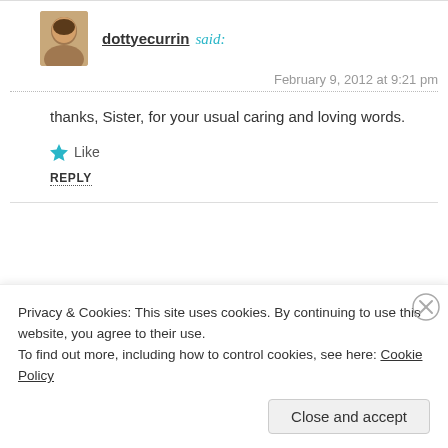dottyecurrin said:
February 9, 2012 at 9:21 pm
thanks, Sister, for your usual caring and loving words.
★ Like
REPLY
LEAVE A REPLY
Privacy & Cookies: This site uses cookies. By continuing to use this website, you agree to their use.
To find out more, including how to control cookies, see here: Cookie Policy
Close and accept